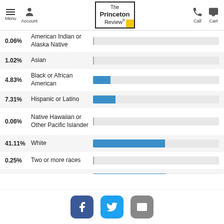Menu Account | The Princeton Review | Call Cart
[Figure (bar-chart): Enrollment by Race/Ethnicity]
Admissions
Application Fee   $70
Facebook Twitter Email